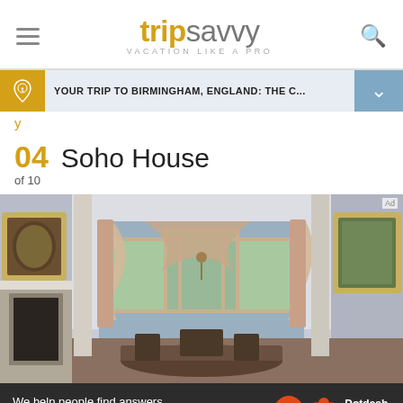tripsavvy VACATION LIKE A PRO
YOUR TRIP TO BIRMINGHAM, ENGLAND: THE C...
y
04 Soho House
of 10
[Figure (photo): Interior of Soho House – a period dining room with ornate swag curtains over a bay window, a fireplace on the left, antique paintings on the walls, and a formal dining table with chairs]
Ad
We help people find answers, solve problems and get inspired.  Dotdash meredith